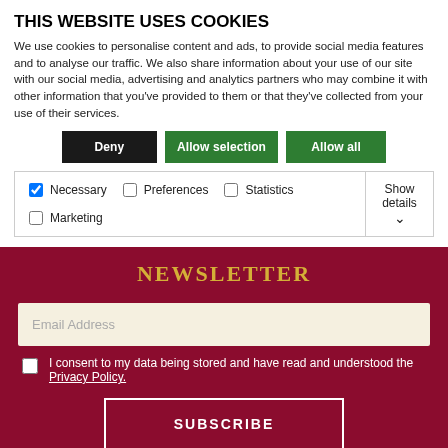THIS WEBSITE USES COOKIES
We use cookies to personalise content and ads, to provide social media features and to analyse our traffic. We also share information about your use of our site with our social media, advertising and analytics partners who may combine it with other information that you've provided to them or that they've collected from your use of their services.
Deny | Allow selection | Allow all
Necessary | Preferences | Statistics | Marketing | Show details
NEWSLETTER
Email Address
I consent to my data being stored and have read and understood the Privacy Policy.
SUBSCRIBE